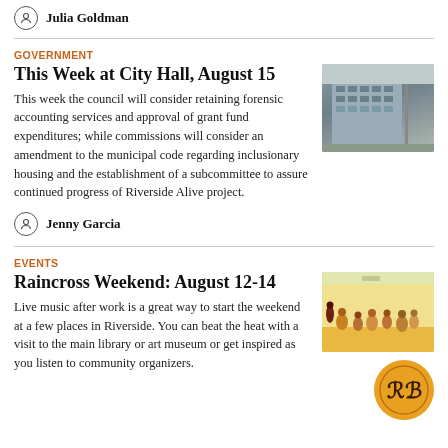Julia Goldman
GOVERNMENT
This Week at City Hall, August 15
This week the council will consider retaining forensic accounting services and approval of grant fund expenditures; while commissions will consider an amendment to the municipal code regarding inclusionary housing and the establishment of a subcommittee to assure continued progress of Riverside Alive project.
[Figure (photo): Photo of a City Hall building exterior with a tall spire or pole in front of a multi-story concrete building]
Jenny Garcia
EVENTS
Raincross Weekend: August 12-14
Live music after work is a great way to start the weekend at a few places in Riverside. You can beat the heat with a visit to the main library or art museum or get inspired as you listen to community organizers.
[Figure (photo): Photo of children in a library or community center gym setting]
[Figure (logo): Raincross symbol logo on an orange/gold circular badge]